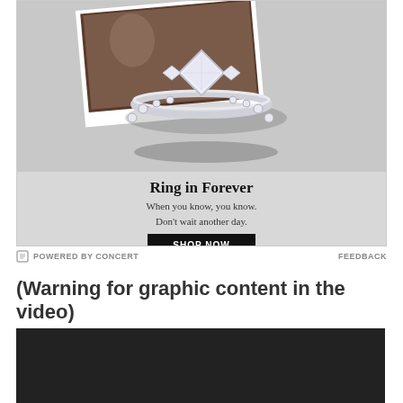[Figure (photo): Advertisement showing a diamond engagement ring with text 'Ring in Forever. When you know, you know. Don't wait another day.' and a SHOP NOW button on a gray background.]
POWERED BY CONCERT    FEEDBACK
(Warning for graphic content in the video)
[Figure (screenshot): Dark video player placeholder area]